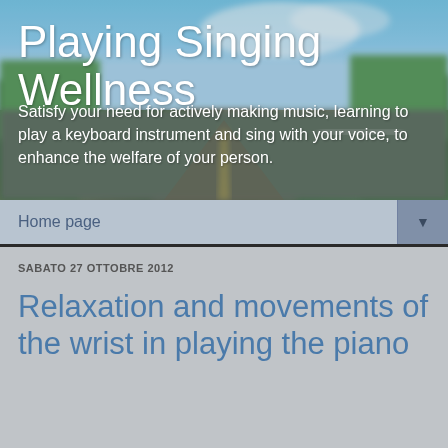[Figure (screenshot): Website header banner with a road/highway perspective photo background showing sky, trees, and road. Blurred outdoor scene.]
Playing Singing Wellness
Satisfy your need for actively making music, learning to play a keyboard instrument and sing with your voice, to enhance the welfare of your person.
Home page ▼
SABATO 27 OTTOBRE 2012
Relaxation and movements of the wrist in playing the piano